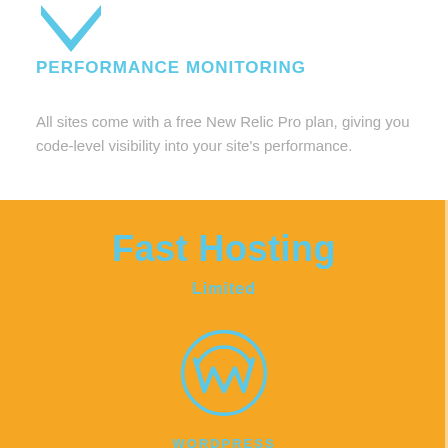[Figure (illustration): Blue downward-pointing arrow/chevron icon in the top-left of the white section]
PERFORMANCE MONITORING
All sites come with a free New Relic Pro plan, giving you code-level visibility into your site's performance.
Fast Hosting
Limited
[Figure (logo): WordPress logo: circular W mark in blue outline on orange background]
WORDPRESS